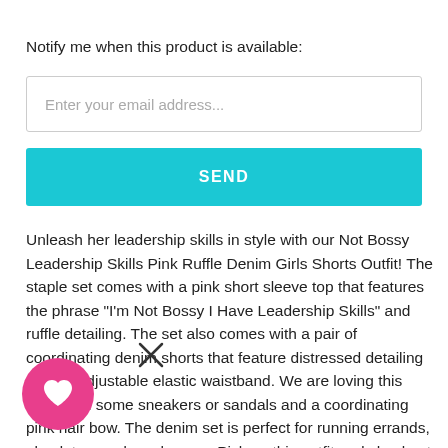Notify me when this product is available:
Enter your email address...
SEND
Unleash her leadership skills in style with our Not Bossy Leadership Skills Pink Ruffle Denim Girls Shorts Outfit! The staple set comes with a pink short sleeve top that features the phrase "I'm Not Bossy I Have Leadership Skills" and ruffle detailing. The set also comes with a pair of coordinating denim shorts that feature distressed detailing and an adjustable elastic waistband. We are loving this outfit with some sneakers or sandals and a coordinating pink hair bow. The denim set is perfect for running errands, playdates, and much more. Pick up this outfit and checkout our other
must have outfits